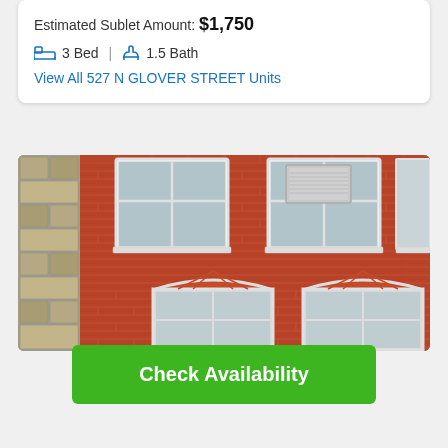Estimated Sublet Amount: $1,750
3 Bed  |  1.5 Bath
View All 527 N GLOVER STREET Units
[Figure (photo): Exterior photo of a red brick apartment building with white-framed windows, showing upper floor windows with a window AC unit and lower arched windows along a brick facade. A stone wall section is visible on the left edge.]
Check Availability